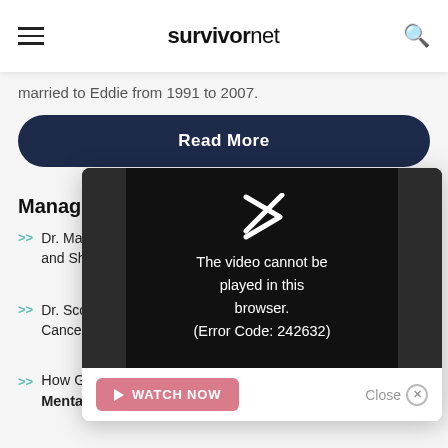survivornet
married to Eddie from 1991 to 2007.
Read More
Managing
Dr. Mar... and Sha...
Dr. Sco... Cancer...
How Genetic Testing Can Help Match You With Mental Health Medications
[Figure (screenshot): Video player popup showing error message: 'The video cannot be played in this browser. (Error Code: 242632)' with a WATCH NOW button and a Close button]